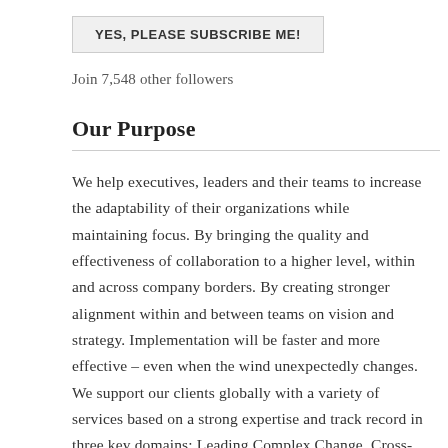[Figure (other): Subscribe button: YES, PLEASE SUBSCRIBE ME!]
Join 7,548 other followers
Our Purpose
We help executives, leaders and their teams to increase the adaptability of their organizations while maintaining focus. By bringing the quality and effectiveness of collaboration to a higher level, within and across company borders. By creating stronger alignment within and between teams on vision and strategy. Implementation will be faster and more effective – even when the wind unexpectedly changes.
We support our clients globally with a variety of services based on a strong expertise and track record in three key domains: Leading Complex Change, Cross-Cultural Leadership, and Post-Merger Integration (see our